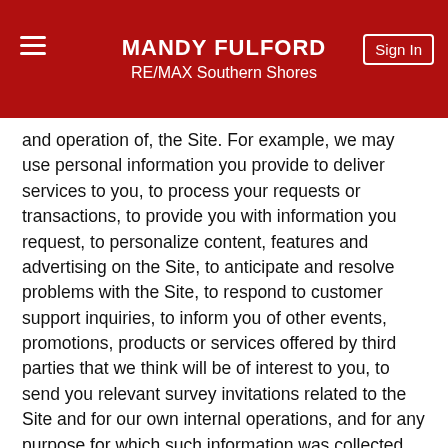MANDY FULFORD
RE/MAX Southern Shores
and operation of, the Site. For example, we may use personal information you provide to deliver services to you, to process your requests or transactions, to provide you with information you request, to personalize content, features and advertising on the Site, to anticipate and resolve problems with the Site, to respond to customer support inquiries, to inform you of other events, promotions, products or services offered by third parties that we think will be of interest to you, to send you relevant survey invitations related to the Site and for our own internal operations, and for any purpose for which such information was collected. We may, from time to time, contact you on behalf of external business partners about a particular offering that may be of interest to you. In those cases, your personal information (e-mail, name, address, telephone number) is not transferred to the third party unless you have consented to such transfer.